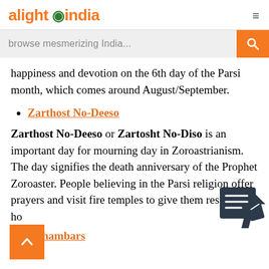alight india
browse mesmerizing India...
happiness and devotion on the 6th day of the Parsi month, which comes around August/September.
Zarthost No-Deeso
Zarthost No-Deeso or Zartosht No-Diso is an important day for mourning day in Zoroastrianism. The day signifies the death anniversary of the Prophet Zoroaster. People believing in the Parsi religion offer prayers and visit fire temples to give them respect and ho...
Gahambars